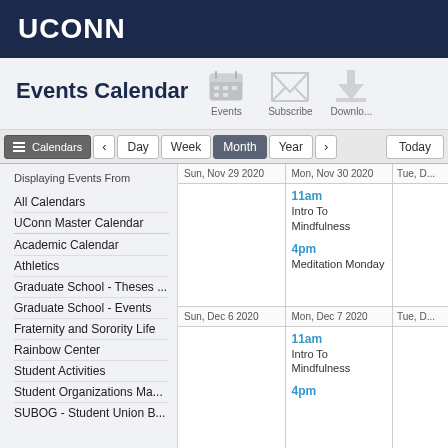UCONN
Events Calendar
[Figure (infographic): Icons for Events, Subscribe, and Download]
Calendars | < | Day | Week | Month | Year | > | Today
Displaying Events From
All Calendars
UConn Master Calendar
Academic Calendar
Athletics
Graduate School - Theses ...
Graduate School - Events
Fraternity and Sorority Life
Rainbow Center
Student Activities
Student Organizations Ma...
SUBOG - Student Union B...
| Sun, Nov 29 2020 | Mon, Nov 30 2020 | Tue, D... |
| --- | --- | --- |
|  | 11am
Intro To Mindfulness
4pm
Meditation Monday |  |
| Sun, Dec 6 2020 | Mon, Dec 7 2020 | Tue, D... |
|  | 11am
Intro To Mindfulness
4pm |  |